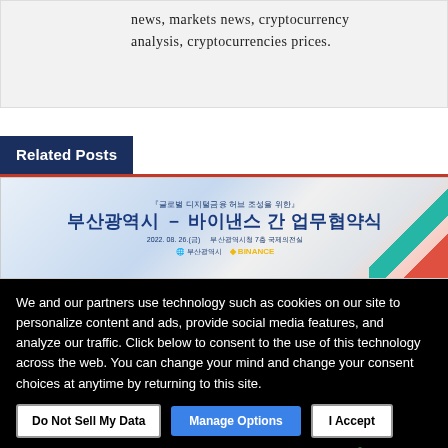news, markets news, cryptocurrency analysis, cryptocurrencies prices.
Related Posts
[Figure (photo): Korean language banner for Busan Metropolitan City and Binance MOU signing ceremony event on 2022.08.26]
We and our partners use technology such as cookies on our site to personalize content and ads, provide social media features, and analyze our traffic. Click below to consent to the use of this technology across the web. You can change your mind and change your consent choices at anytime by returning to this site.
Do Not Sell My Data | Manage Options | I Accept
Powered by UniConsent